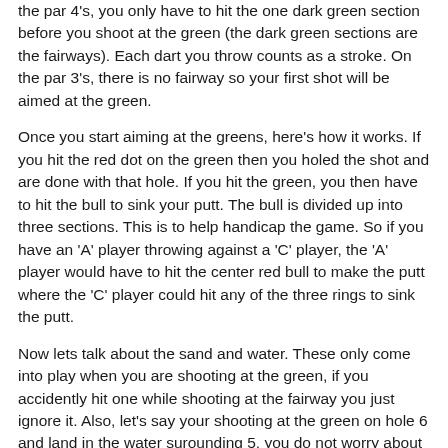the par 4's, you only have to hit the one dark green section before you shoot at the green (the dark green sections are the fairways). Each dart you throw counts as a stroke. On the par 3's, there is no fairway so your first shot will be aimed at the green.
Once you start aiming at the greens, here's how it works. If you hit the red dot on the green then you holed the shot and are done with that hole. If you hit the green, you then have to hit the bull to sink your putt. The bull is divided up into three sections. This is to help handicap the game. So if you have an 'A' player throwing against a 'C' player, the 'A' player would have to hit the center red bull to make the putt where the 'C' player could hit any of the three rings to sink the putt.
Now lets talk about the sand and water. These only come into play when you are shooting at the green, if you accidently hit one while shooting at the fairway you just ignore it. Also, let's say your shooting at the green on hole 6 and land in the water surounding 5, you do not worry about it. It just counts as a missed dart, no penalty. Here's how the rules work: